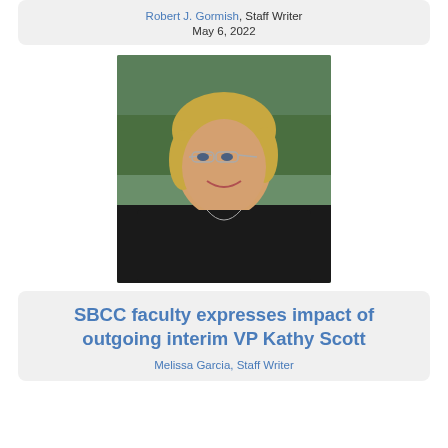Robert J. Gormish, Staff Writer
May 6, 2022
[Figure (photo): Portrait photo of a woman with short blonde hair and glasses, wearing a dark top and necklace, smiling, with trees in the background.]
SBCC faculty expresses impact of outgoing interim VP Kathy Scott
Melissa Garcia, Staff Writer